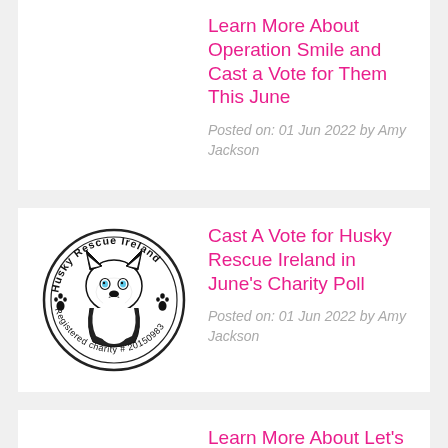Learn More About Operation Smile and Cast a Vote for Them This June
Posted on: 01 Jun 2022 by Amy Jackson
[Figure (logo): Husky Rescue Ireland circular logo with a husky dog illustration in the center and text reading 'Husky Rescue Ireland' around the top and 'Registered charity # 20150983' around the bottom, with paw print icons on the sides.]
Cast A Vote for Husky Rescue Ireland in June's Charity Poll
Posted on: 01 Jun 2022 by Amy Jackson
Learn More About Let's Talk about Loss and Support